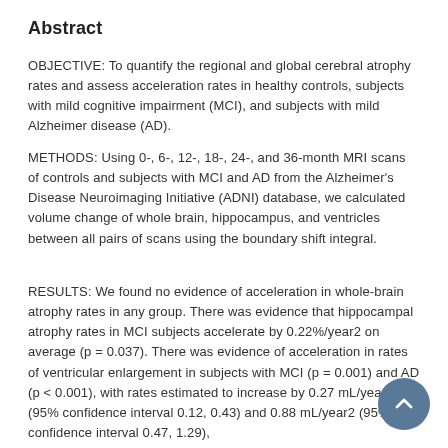Abstract
OBJECTIVE: To quantify the regional and global cerebral atrophy rates and assess acceleration rates in healthy controls, subjects with mild cognitive impairment (MCI), and subjects with mild Alzheimer disease (AD).
METHODS: Using 0-, 6-, 12-, 18-, 24-, and 36-month MRI scans of controls and subjects with MCI and AD from the Alzheimer's Disease Neuroimaging Initiative (ADNI) database, we calculated volume change of whole brain, hippocampus, and ventricles between all pairs of scans using the boundary shift integral.
RESULTS: We found no evidence of acceleration in whole-brain atrophy rates in any group. There was evidence that hippocampal atrophy rates in MCI subjects accelerate by 0.22%/year2 on average (p = 0.037). There was evidence of acceleration in rates of ventricular enlargement in subjects with MCI (p = 0.001) and AD (p < 0.001), with rates estimated to increase by 0.27 mL/year2 (95% confidence interval 0.12, 0.43) and 0.88 mL/year2 (95% confidence interval 0.47, 1.29),